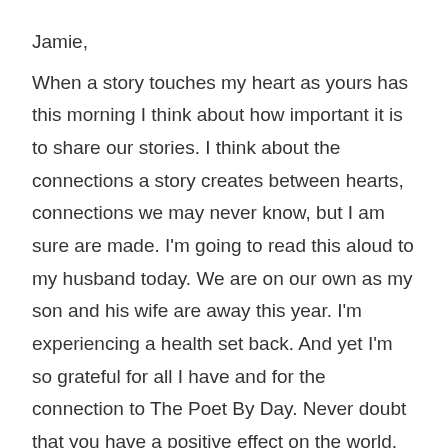Jamie,
When a story touches my heart as yours has this morning I think about how important it is to share our stories. I think about the connections a story creates between hearts, connections we may never know, but I am sure are made. I'm going to read this aloud to my husband today. We are on our own as my son and his wife are away this year. I'm experiencing a health set back. And yet I'm so grateful for all I have and for the connection to The Poet By Day. Never doubt that you have a positive effect on the world, Jamie. Thank you and may your day be a nurturing one.